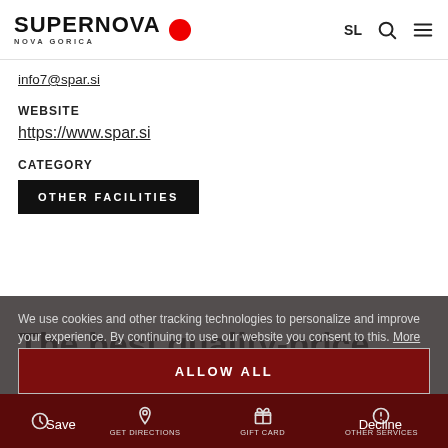SUPERNOVA NOVA GORICA — SL
info7@spar.si
WEBSITE
https://www.spar.si
CATEGORY
OTHER FACILITIES
We use cookies and other tracking technologies to personalize and improve your experience. By continuing to use our website you consent to this. More info
The best quality-price ratio at Interspar Supermarket
necessary    statistics
Shopping at Interspar Supermarket is a very special
ALLOW ALL
Save    GET DIRECTIONS    GIFT CARD    Decline    OTHER SERVICES